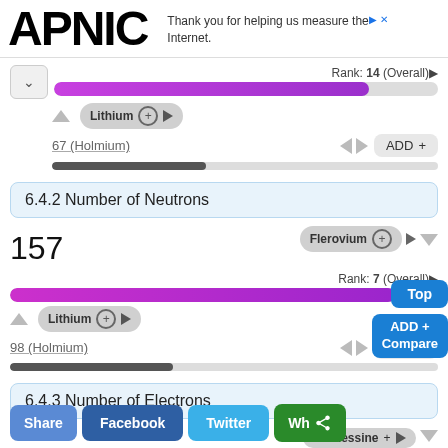[Figure (logo): APNIC logo in large bold black text]
Thank you for helping us measure the Internet.
Rank: 14 (Overall)
Lithium
67 (Holmium)
ADD
6.4.2 Number of Neutrons
157
Flerovium
Rank: 7 (Overall)
Lithium
98 (Holmium)
ADD
6.4.3 Number of Electrons
Tennessine
104
Share  Facebook  Twitter  Wh